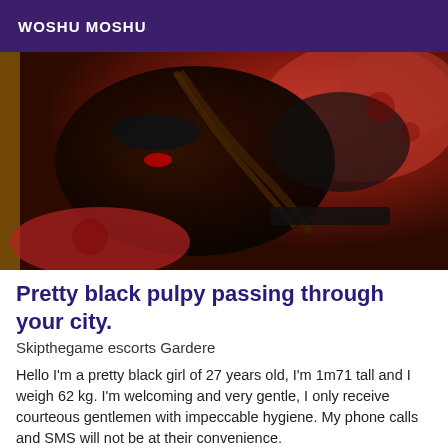WOSHU MOSHU
[Figure (photo): A woman wearing a black mask lying on a red couch/bed, wearing black lingerie]
Pretty black pulpy passing through your city.
Skipthegame escorts Gardere
Hello I'm a pretty black girl of 27 years old, I'm 1m71 tall and I weigh 62 kg. I'm welcoming and very gentle, I only receive courteous gentlemen with impeccable hygiene. My phone calls and SMS will not be at their convenience.